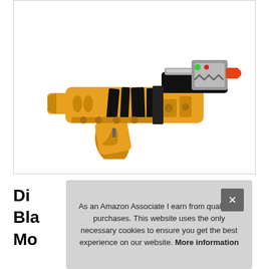[Figure (photo): A yellow and black toy blaster/gun with mechanical sci-fi styling, featuring black tiger-stripe markings on yellow plastic body, silver mechanical parts on top, green and red details, and an orange tip.]
Di...
Bla...
Mo...
As an Amazon Associate I earn from qualifying purchases. This website uses the only necessary cookies to ensure you get the best experience on our website. More information